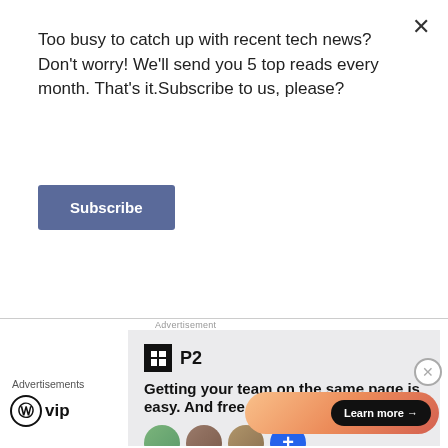Too busy to catch up with recent tech news? Don't worry! We'll send you 5 top reads every month. That's it.Subscribe to us, please?
Subscribe
Advertisement
[Figure (screenshot): P2 advertisement: logo with grid icon and 'P2' text, headline 'Getting your team on the same page is easy. And free.' with four avatar images below]
×
Advertisements
[Figure (logo): WordPress VIP logo: circle W icon with 'vip' text]
[Figure (screenshot): Orange/pink gradient banner with 'Learn more →' button]